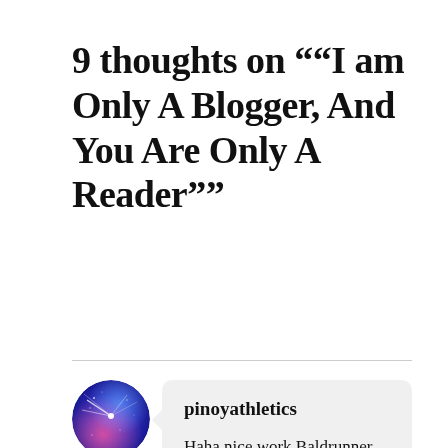9 thoughts on "“I am Only A Blogger, And You Are Only A Reader”"
pinoyathletics
Haha nice work Baldrunner. This article is pritty much what Owen Wilson’s character quotes in the movie Marley and Me. “I blogged about